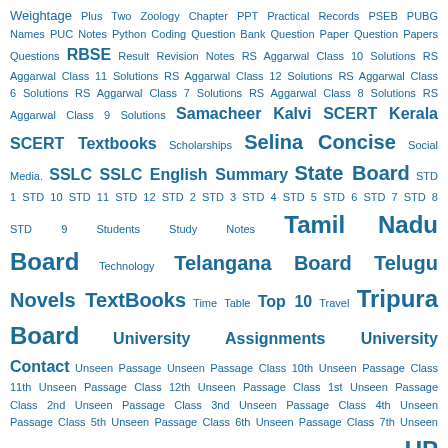Weightage Plus Two Zoology Chapter PPT Practical Records PSEB PUBG Names PUC Notes Python Coding Question Bank Question Paper Question Papers Questions RBSE Result Revision Notes RS Aggarwal Class 10 Solutions RS Aggarwal Class 11 Solutions RS Aggarwal Class 12 Solutions RS Aggarwal Class 6 Solutions RS Aggarwal Class 7 Solutions RS Aggarwal Class 8 Solutions RS Aggarwal Class 9 Solutions Samacheer Kalvi SCERT Kerala SCERT Textbooks Scholarships Selina Concise Social Media. SSLC SSLC English Summary State Board STD 1 STD 10 STD 11 STD 12 STD 2 STD 3 STD 4 STD 5 STD 6 STD 7 STD 8 STD 9 Students Study Notes Tamil Nadu Board Technology Telangana Board Telugu Novels TextBooks Time Table Top 10 Travel Tripura Board University Assignments University Contact Unseen Passage Unseen Passage Class 10th Unseen Passage Class 11th Unseen Passage Class 12th Unseen Passage Class 1st Unseen Passage Class 2nd Unseen Passage Class 3nd Unseen Passage Class 4th Unseen Passage Class 5th Unseen Passage Class 6th Unseen Passage Class 7th Unseen Passage Class 8th Unseen Passage Class 9th Unseen Poems UP Board Uttarakhand Board Veda Vijayabheri Plus One Notes Vijayabheri Plus Two Notes Vijayabheri SSLC Notes Viva Q&A WBBSE [Hindi text tags]